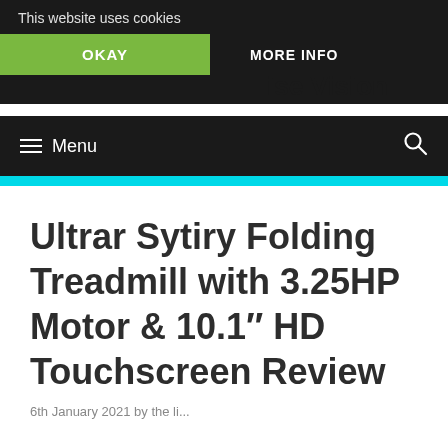This website uses cookies
OKAY
MORE INFO
ise Vision
≡ Menu
Ultrar Sytiry Folding Treadmill with 3.25HP Motor & 10.1″ HD Touchscreen Review
6th January 2021 by the li...